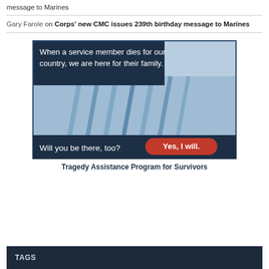message to Marines
Gary Farole on Corps' new CMC issues 239th birthday message to Marines
[Figure (illustration): Tragedy Assistance Program for Survivors advertisement. Blue-tinted image of flags along a wall. Text: 'When a service member dies for our country, we are here for their family.' and 'Will you be there, too?' with red button 'Yes, I will.' and 'Tragedy Assistance Program for Survivors' at the bottom.]
TAGS